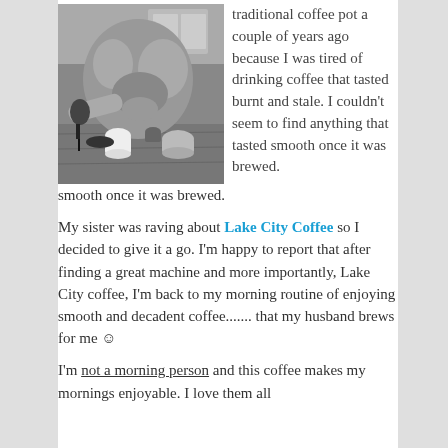[Figure (photo): Black and white photo of a person in a fluffy robe leaning over a wooden table, pouring something dark from a small pitcher into a white cup, with other small vessels on the table.]
traditional coffee pot a couple of years ago because I was tired of drinking coffee that tasted burnt and stale. I couldn't seem to find anything that tasted smooth once it was brewed.
My sister was raving about Lake City Coffee so I decided to give it a go. I'm happy to report that after finding a great machine and more importantly, Lake City coffee, I'm back to my morning routine of enjoying smooth and decadent coffee....... that my husband brews for me ☺
I'm not a morning person and this coffee makes my mornings enjoyable. I love them all